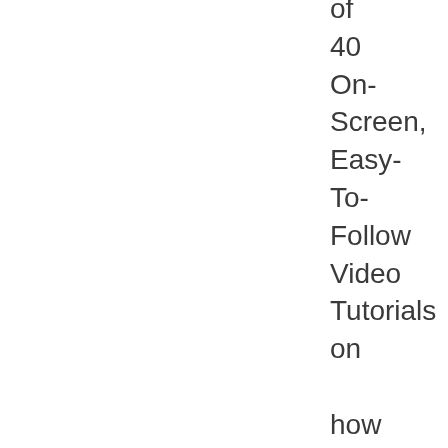of 40 On-Screen, Easy-To-Follow Video Tutorials on how to market and publish your content expertly.